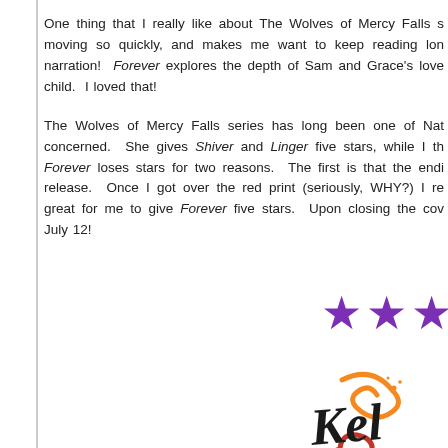One thing that I really like about The Wolves of Mercy Falls series is moving so quickly, and makes me want to keep reading longer. The narration! Forever explores the depth of Sam and Grace's love as a child. I loved that!
The Wolves of Mercy Falls series has long been one of Nat's concerned. She gives Shiver and Linger five stars, while I think Forever loses stars for two reasons. The first is that the ending release. Once I got over the red print (seriously, WHY?) I re great for me to give Forever five stars. Upon closing the cover July 12!
[Figure (illustration): Three purple star icons representing a rating]
[Figure (logo): Decorative script logo with swirling orange and red flourishes spelling 'Kel' in black cursive]